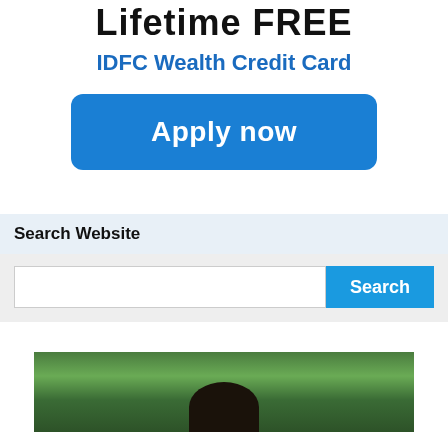Lifetime FREE
IDFC Wealth Credit Card
[Figure (other): Blue rounded button with white text 'Apply now']
Search Website
[Figure (other): Search widget with text input field and blue 'Search' button]
[Figure (photo): Outdoor photo of a person visible from top of head, surrounded by green foliage/nature background]